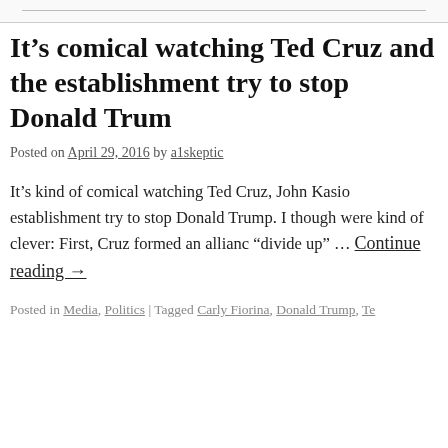It’s comical watching Ted Cruz and the establishment try to stop Donald Trump
Posted on April 29, 2016 by a1skeptic
It’s kind of comical watching Ted Cruz, John Kasic establishment try to stop Donald Trump. I though were kind of clever: First, Cruz formed an allianc “divide up” … Continue reading →
Posted in Media, Politics | Tagged Carly Fiorina, Donald Trump, Te